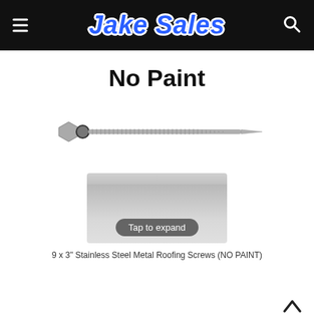Jake Sales
No Paint
[Figure (photo): A stainless steel metal roofing screw with hex washer head and neoprene washer, shown horizontally against white background]
[Figure (photo): Close-up thumbnail of the screw shaft/threads showing silver metallic finish with a 'Tap to expand' button overlay]
9 x 3" Stainless Steel Metal Roofing Screws (NO PAINT)